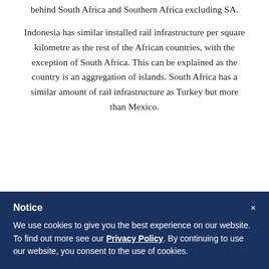three years, which would rank it third in absolute terms behind South Africa and Southern Africa excluding SA.
Indonesia has similar installed rail infrastructure per square kilometre as the rest of the African countries, with the exception of South Africa. This can be explained as the country is an aggregation of islands. South Africa has a similar amount of rail infrastructure as Turkey but more than Mexico.
Notice
We use cookies to give you the best experience on our website. To find out more see our Privacy Policy. By continuing to use our website, you consent to the use of cookies.